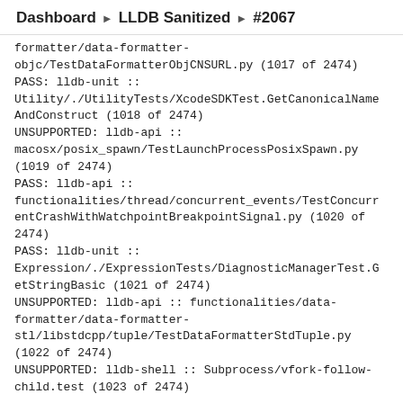Dashboard ▶ LLDB Sanitized ▶ #2067
formatter/data-formatter-objc/TestDataFormatterObjCNSURL.py (1017 of 2474)
PASS: lldb-unit :: Utility/./UtilityTests/XcodeSDKTest.GetCanonicalNameAndConstruct (1018 of 2474)
UNSUPPORTED: lldb-api :: macosx/posix_spawn/TestLaunchProcessPosixSpawn.py (1019 of 2474)
PASS: lldb-api :: functionalities/thread/concurrent_events/TestConcurrentCrashWithWatchpointBreakpointSignal.py (1020 of 2474)
PASS: lldb-unit :: Expression/./ExpressionTests/DiagnosticManagerTest.GetStringBasic (1021 of 2474)
UNSUPPORTED: lldb-api :: functionalities/data-formatter/data-formatter-stl/libstdcpp/tuple/TestDataFormatterStdTuple.py (1022 of 2474)
UNSUPPORTED: lldb-shell :: Subprocess/vfork-follow-child.test (1023 of 2474)